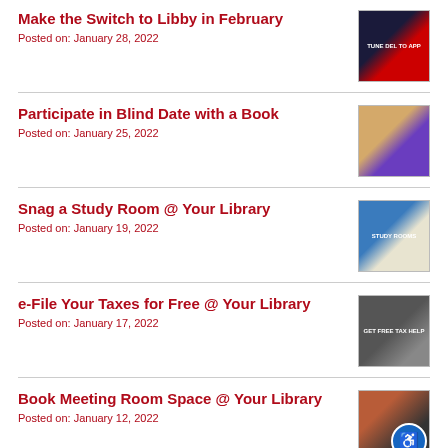Make the Switch to Libby in February
Posted on: January 28, 2022
[Figure (photo): Thumbnail image for Make the Switch to Libby in February post]
Participate in Blind Date with a Book
Posted on: January 25, 2022
[Figure (photo): Thumbnail image for Participate in Blind Date with a Book post]
Snag a Study Room @ Your Library
Posted on: January 19, 2022
[Figure (photo): Thumbnail image for Snag a Study Room @ Your Library post]
e-File Your Taxes for Free @ Your Library
Posted on: January 17, 2022
[Figure (photo): Thumbnail image for e-File Your Taxes for Free @ Your Library post]
Book Meeting Room Space @ Your Library
Posted on: January 12, 2022
[Figure (photo): Thumbnail image for Book Meeting Room Space @ Your Library post with accessibility badge]
Friends, Fonts with Spread Book...